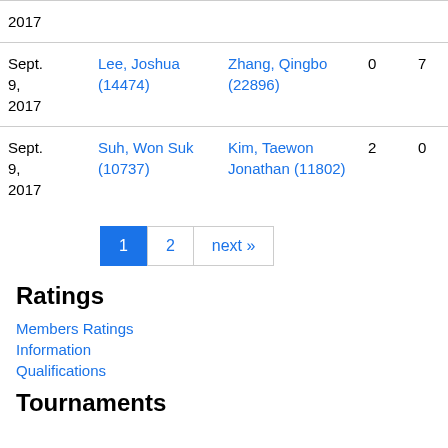| Date | Player 1 | Player 2 | Score 1 | Score 2 |
| --- | --- | --- | --- | --- |
| 2017 |  |  |  |  |
| Sept. 9, 2017 | Lee, Joshua (14474) | Zhang, Qingbo (22896) | 0 | 7 |
| Sept. 9, 2017 | Suh, Won Suk (10737) | Kim, Taewon Jonathan (11802) | 2 | 0 |
1  2  next »
Ratings
Members Ratings
Information
Qualifications
Tournaments